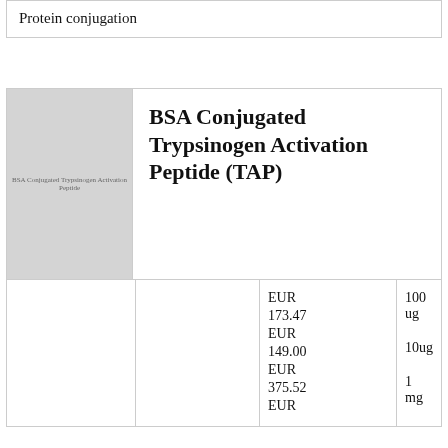Protein conjugation
[Figure (photo): Product image placeholder for BSA Conjugated Trypsinogen Activation Peptide with watermark text]
BSA Conjugated Trypsinogen Activation Peptide (TAP)
|  |  | Price | Quantity |
| --- | --- | --- | --- |
|  |  | EUR 173.47
EUR 149.00
EUR 375.52
EUR | 100 ug
10ug
1 mg |